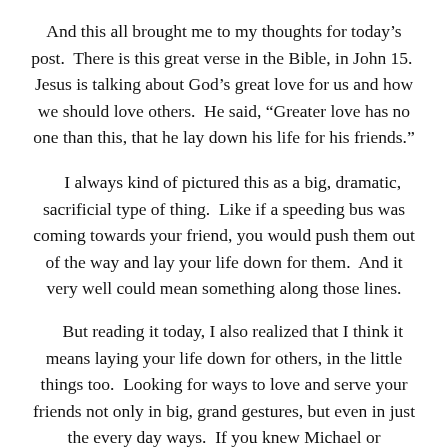And this all brought me to my thoughts for today's post.  There is this great verse in the Bible, in John 15.  Jesus is talking about God's great love for us and how we should love others.  He said, “Greater love has no one than this, that he lay down his life for his friends.”
I always kind of pictured this as a big, dramatic, sacrificial type of thing.  Like if a speeding bus was coming towards your friend, you would push them out of the way and lay your life down for them.  And it very well could mean something along those lines.
But reading it today, I also realized that I think it means laying your life down for others, in the little things too.  Looking for ways to love and serve your friends not only in big, grand gestures, but even in just the every day ways.  If you knew Michael or